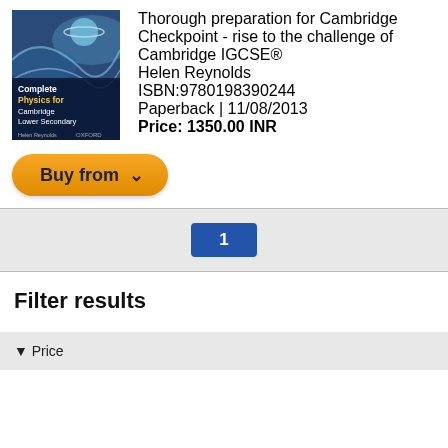[Figure (illustration): Book cover: Complete Physics for Cambridge Lower Secondary, Oxford]
Thorough preparation for Cambridge Checkpoint - rise to the challenge of Cambridge IGCSE®
Helen Reynolds
ISBN:9780198390244
Paperback | 11/08/2013
Price: 1350.00 INR
Buy from ∨
1
Filter results
▼ Price